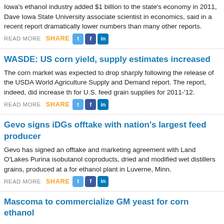Iowa's ethanol industry added $1 billion to the state's economy in 2011, Dave Iowa State University associate scientist in economics, said in a recent report dramatically lower numbers than many other reports.
READ MORE  SHARE
WASDE: US corn yield, supply estimates increased
The corn market was expected to drop sharply following the release of the USDA World Agriculture Supply and Demand report. The report, indeed, did increase th for U.S. feed grain supplies for 2011-'12.
READ MORE  SHARE
Gevo signs iDGs offtake with nation's largest feed producer
Gevo has signed an offtake and marketing agreement with Land O'Lakes Purina isobutanol coproducts, dried and modified wet distillers grains, produced at a for ethanol plant in Luverne, Minn.
READ MORE  SHARE
Mascoma to commercialize GM yeast for corn ethanol
Mascoma's first commercial application of its proprietary consolidated bioproces the corn ethanol industry. The company announced several agreements to test, use the modfied yeast with three industry leaders.
READ MORE  SHARE
Research unveils ethanol's role in future fuel efficiency